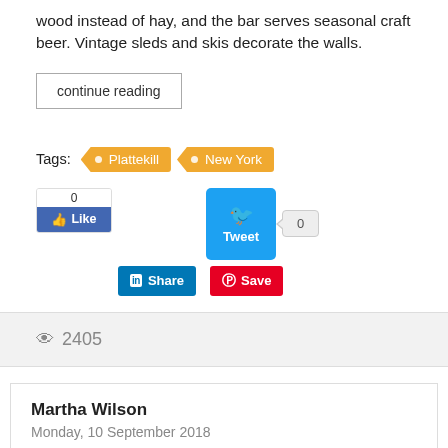wood instead of hay, and the bar serves seasonal craft beer. Vintage sleds and skis decorate the walls.
continue reading
Tags: Plattekill  New York
[Figure (screenshot): Social sharing buttons: Facebook Like (count 0), LinkedIn Share, Twitter Tweet button, Twitter count bubble (0), Pinterest Save button]
2405
Martha Wilson
Monday, 10 September 2018